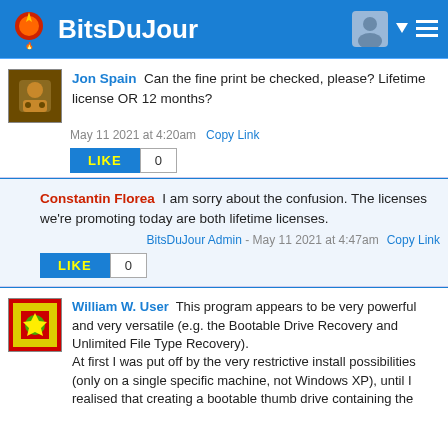BitsDuJour
Jon Spain  Can the fine print be checked, please? Lifetime license OR 12 months?
May 11 2021 at 4:20am   Copy Link
LIKE  0
Constantin Florea  I am sorry about the confusion. The licenses we're promoting today are both lifetime licenses.
BitsDuJour Admin - May 11 2021 at 4:47am   Copy Link
LIKE  0
William W. User  This program appears to be very powerful and very versatile (e.g. the Bootable Drive Recovery and Unlimited File Type Recovery).
At first I was put off by the very restrictive install possibilities (only on a single specific machine, not Windows XP), until I realised that creating a bootable thumb drive containing the software after installing it on Windows 8.1 or later machine